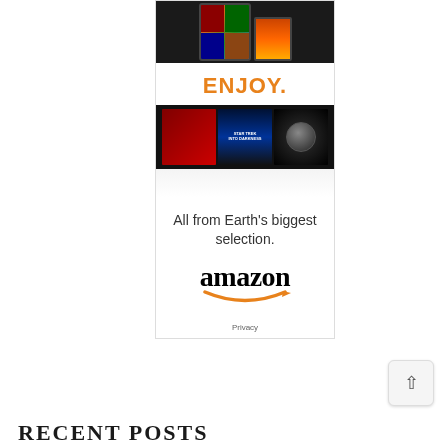[Figure (illustration): Amazon advertisement banner featuring Kindle/tablet devices at top, 'ENJOY.' text in orange, movie cover thumbnails strip, tagline 'All from Earth's biggest selection.', Amazon logo with smile, and Privacy link]
[Figure (other): Back to top button — rounded square button with upward chevron arrow]
RECENT POSTS